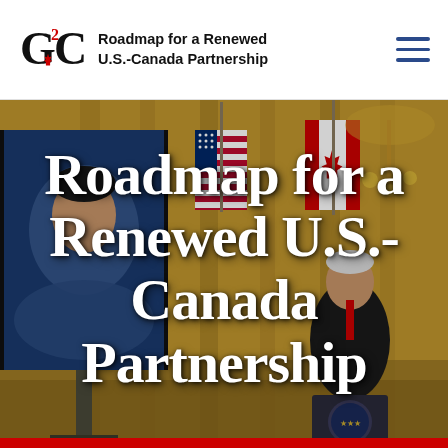[Figure (logo): C2C logo with maple leaf and superscript 2, red and black]
Roadmap for a Renewed U.S.-Canada Partnership
[Figure (photo): Photo of a political leader appearing on a screen (left) and a person at a presidential podium (right), with American and Canadian flags in the background, in a gold-curtained room]
Roadmap for a Renewed U.S.-Canada Partnership